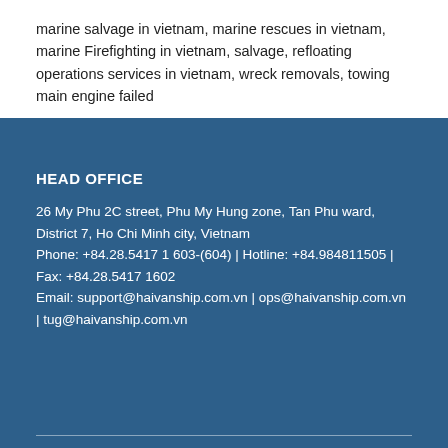marine salvage in vietnam, marine rescues in vietnam, marine Firefighting in vietnam, salvage, refloating operations services in vietnam, wreck removals, towing main engine failed
HEAD OFFICE
26 My Phu 2C street, Phu My Hung zone, Tan Phu ward, District 7, Ho Chi Minh city, Vietnam
Phone: +84.28.5417 1 603-(604) | Hotline: +84.984811505 | Fax: +84.28.5417 1602
Email: support@haivanship.com.vn | ops@haivanship.com.vn | tug@haivanship.com.vn